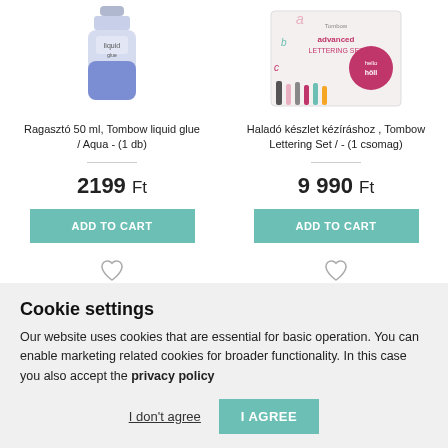[Figure (photo): Product image of Tombow liquid glue bottle (blue/white, 50ml)]
Ragasztó 50 ml, Tombow liquid glue / Aqua - (1 db)
2199 Ft
ADD TO CART
[Figure (illustration): Heart/wishlist icon]
[Figure (photo): Product image of Tombow Lettering Set advanced kit]
Haladó készlet kézíráshoz , Tombow Lettering Set / - (1 csomag)
9 990 Ft
ADD TO CART
[Figure (illustration): Heart/wishlist icon]
[Figure (illustration): Orange warning/info badge icon (left column)]
[Figure (illustration): Orange warning/info badge icon (right column)]
Cookie settings
Our website uses cookies that are essential for basic operation. You can enable marketing related cookies for broader functionality. In this case you also accept the privacy policy
I don't agree
I AGREE